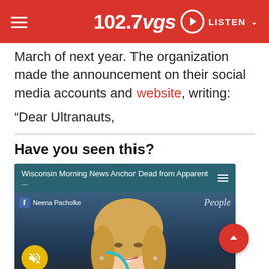102.7 VGS — LISTEN
March of next year. The organization made the announcement on their social media accounts and website, writing:
“Dear Ultranauts,
Have you seen this?
[Figure (screenshot): Embedded video card with teal header reading 'Wisconsin Morning News Anchor Dead from Apparent ...' with hamburger menu icon, showing a smiling blonde female news anchor with Facebook overlay label 'Neena Pacholke', People magazine logo, yellow mute button, and a loading spinner arc. A red back-to-top button appears at right.]